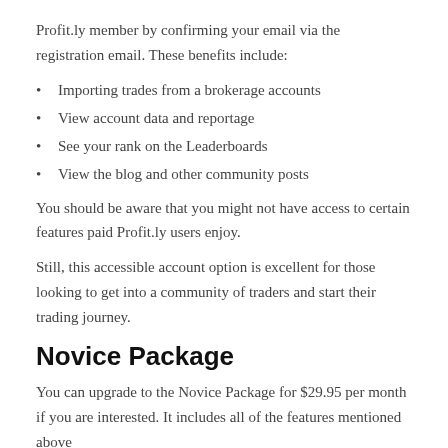Profit.ly member by confirming your email via the registration email. These benefits include:
Importing trades from a brokerage accounts
View account data and reportage
See your rank on the Leaderboards
View the blog and other community posts
You should be aware that you might not have access to certain features paid Profit.ly users enjoy.
Still, this accessible account option is excellent for those looking to get into a community of traders and start their trading journey.
Novice Package
You can upgrade to the Novice Package for $29.95 per month if you are interested. It includes all of the features mentioned above